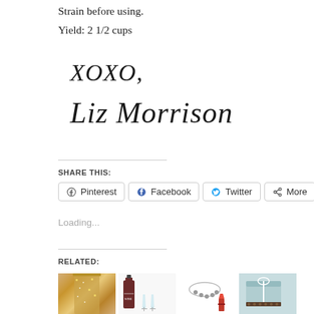Strain before using.
Yield: 2 1/2 cups
XOXO,
Liz Morrison
SHARE THIS:
Pinterest  Facebook  Twitter  More
Loading...
RELATED:
[Figure (photo): Four related article thumbnail images showing: a glittery skirt, a bottle of wine with champagne glasses, a jeweled necklace with red lipstick, and a wrapped gift or clothing item.]